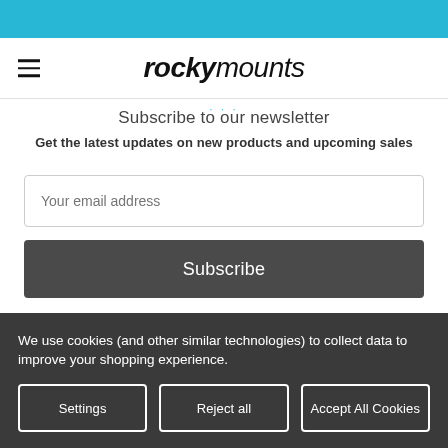rockymounts
Subscribe to our newsletter
Get the latest updates on new products and upcoming sales
Your email address
Subscribe
We use cookies (and other similar technologies) to collect data to improve your shopping experience.
Settings | Reject all | Accept All Cookies